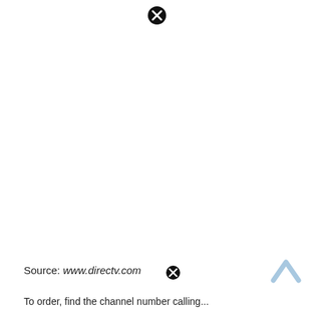[Figure (other): Close button (X in black circle) at top center of page]
Source: www.directtv.com
[Figure (other): Close button (X in black circle) next to source URL]
[Figure (other): Up/back arrow in light blue at bottom right]
To order, find the channel number calling...